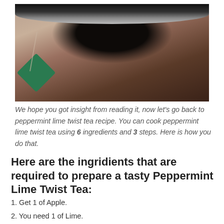[Figure (photo): A close-up photo of a dark mug with a green tea bag tag hanging over the side, placed on a tiled surface.]
We hope you got insight from reading it, now let's go back to peppermint lime twist tea recipe. You can cook peppermint lime twist tea using 6 ingredients and 3 steps. Here is how you do that.
Here are the ingridients that are required to prepare a tasty Peppermint Lime Twist Tea:
1. Get 1 of Apple.
2. You need 1 of Lime.